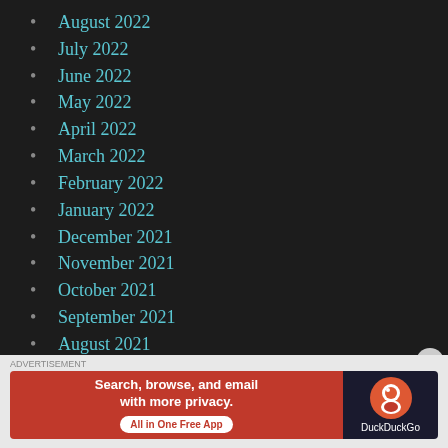August 2022
July 2022
June 2022
May 2022
April 2022
March 2022
February 2022
January 2022
December 2021
November 2021
October 2021
September 2021
August 2021
[Figure (screenshot): DuckDuckGo advertisement banner: 'Search, browse, and email with more privacy. All in One Free App' with DuckDuckGo logo on dark background]